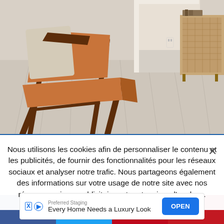[Figure (photo): Interior room photo showing a mid-century modern wooden armchair with leather seat and cushion on whitewashed wooden floor planks, with a doorway leading to another room in the background and a rattan/cane sideboard on the right.]
Nous utilisons les cookies afin de personnaliser le contenu et les publicités, de fournir des fonctionnalités pour les réseaux sociaux et analyser notre trafic. Nous partageons également des informations sur votre usage de notre site avec nos réseaux sociaux, publicitaires et partenaires d'analyse.
[Figure (infographic): Advertisement banner: 'Preferred Staging - Every Home Needs a Luxury Look' with OPEN button and ad attribution icons (X and D).]
[Figure (infographic): Social sharing bar with four buttons: Facebook (dark blue), Twitter (light blue), Pinterest (red), Flipboard (dark red).]